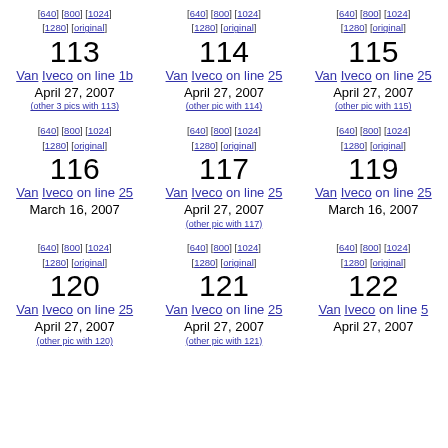October 24, 2007
(other 2 pics with 111)
[640] [800] [1024] [1280] [original] 113 Van Iveco on line 1b April 27, 2007 (other 3 pics with 113)
[640] [800] [1024] [1280] [original] 114 Van Iveco on line 25 April 27, 2007 (other pic with 114)
[640] [800] [1024] [1280] [original] 115 Van Iveco on line 25 April 27, 2007 (other pic with 115)
[640] [800] [1024] [1280] [original] 116 Van Iveco on line 25 March 16, 2007
[640] [800] [1024] [1280] [original] 117 Van Iveco on line 25 April 27, 2007 (other pic with 117)
[640] [800] [1024] [1280] [original] 119 Van Iveco on line 25 March 16, 2007
[640] [800] [1024] [1280] [original] 120 Van Iveco on line 25 April 27, 2007 (other pic with 120)
[640] [800] [1024] [1280] [original] 121 Van Iveco on line 25 April 27, 2007 (other pic with 121)
[640] [800] [1024] [1280] [original] 122 Van Iveco on line 5 April 27, 2007